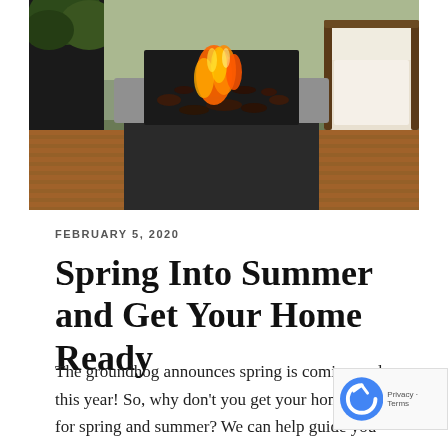[Figure (photo): Outdoor patio with a square gas fire pit table with dark stone surround, lava rocks, open flame, set on wooden deck with white cushion lounge chair and wood furniture in background, with greenery visible.]
FEBRUARY 5, 2020
Spring Into Summer and Get Your Home Ready
The groundhog announces spring is coming early this year! So, why don't you get your home ready for spring and summer? We can help guide you through getting ready making a few updates to the exterior of your home. W would like to highlight a few up and coming trends to give